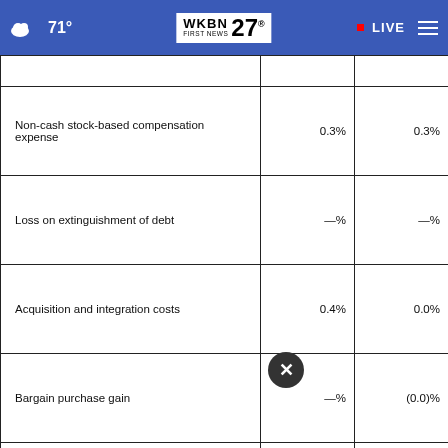71° WKBN FIRST NEWS 27 • LIVE
|  |  |  |
| --- | --- | --- |
| Non-cash stock-based compensation expense | 0.3% | 0.3% |
| Loss on extinguishment of debt | —% | —% |
| Acquisition and integration costs | 0.4% | 0.0% |
| Bargain purchase gain | —% | (0.0)% |
| Adjusted EBITDA margin | 9.2-9.5% | 11.7% |
[Figure (screenshot): Advertisement for Alzheimer's awareness: 'If you're noticing changes, it could be Alzheimer's. Visit a doctor together.' with a Learn More button and Alzheimer's Association badge]